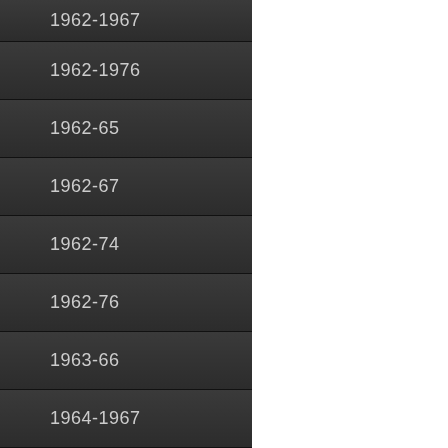1962-1967
1962-1976
1962-65
1962-67
1962-74
1962-76
1963-66
1964-1967
1964-66
1964-67
1964-72
1964-73